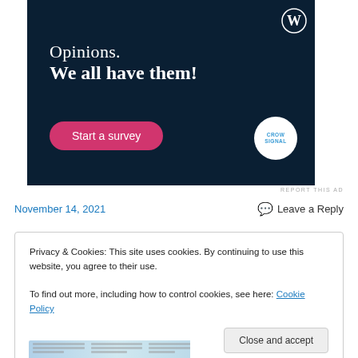[Figure (illustration): WordPress/Crowdsignal advertisement banner with dark navy background. Text reads 'Opinions. We all have them!' with a pink 'Start a survey' button and Crowdsignal circular logo. WordPress logo in top-right corner.]
REPORT THIS AD
November 14, 2021
💬 Leave a Reply
Privacy & Cookies: This site uses cookies. By continuing to use this website, you agree to their use.
To find out more, including how to control cookies, see here: Cookie Policy
Close and accept